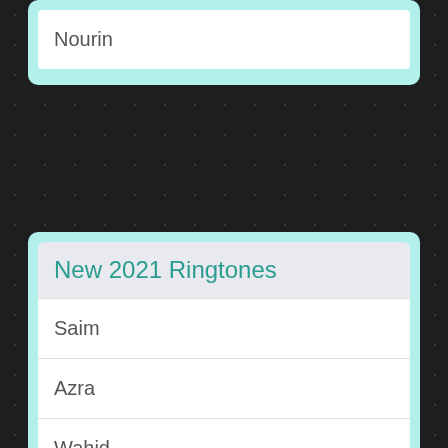Nourin
New 2021 Ringtones
Saim
Azra
Wahid
Jaichand